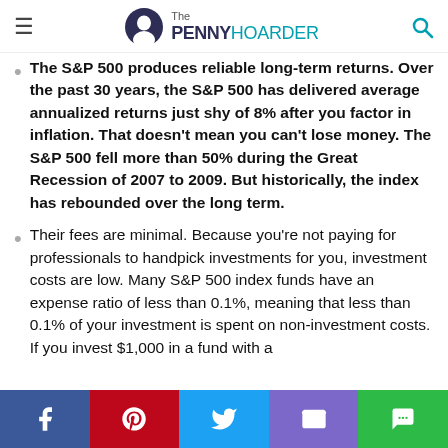The PENNY HOARDER
The S&P 500 produces reliable long-term returns. Over the past 30 years, the S&P 500 has delivered average annualized returns just shy of 8% after you factor in inflation. That doesn't mean you can't lose money. The S&P 500 fell more than 50% during the Great Recession of 2007 to 2009. But historically, the index has rebounded over the long term.
Their fees are minimal. Because you're not paying for professionals to handpick investments for you, investment costs are low. Many S&P 500 index funds have an expense ratio of less than 0.1%, meaning that less than 0.1% of your investment is spent on non-investment costs. If you invest $1,000 in a fund with a
Facebook Pinterest Twitter Email Message